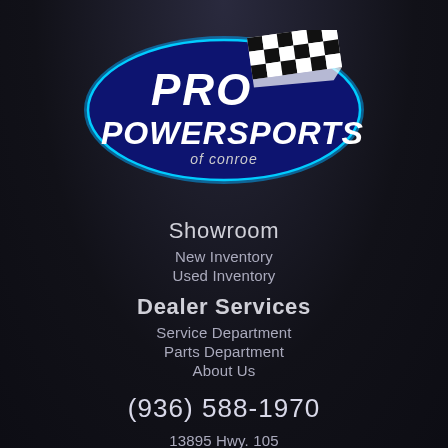[Figure (logo): Pro Powersports of Conroe logo — dark navy blue oval with cyan border, white bold italic text reading PRO POWERSPORTS with checkered racing flags, and smaller text 'of conroe' below]
Showroom
New Inventory
Used Inventory
Dealer Services
Service Department
Parts Department
About Us
(936) 588-1970
13895 Hwy. 105
West Conroe, TX 77304